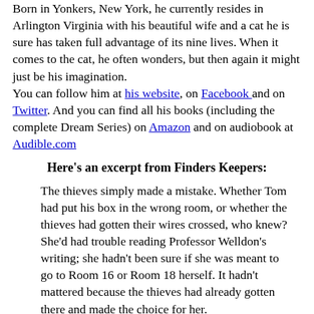Born in Yonkers, New York, he currently resides in Arlington Virginia with his beautiful wife and a cat he is sure has taken full advantage of its nine lives. When it comes to the cat, he often wonders, but then again it might just be his imagination. You can follow him at his website, on Facebook and on Twitter. And you can find all his books (including the complete Dream Series) on Amazon and on audiobook at Audible.com
Here's an excerpt from Finders Keepers:
The thieves simply made a mistake. Whether Tom had put his box in the wrong room, or whether the thieves had gotten their wires crossed, who knew? She'd had trouble reading Professor Welldon's writing; she hadn't been sure if she was meant to go to Room 16 or Room 18 herself. It hadn't mattered because the thieves had already gotten there and made the choice for her.